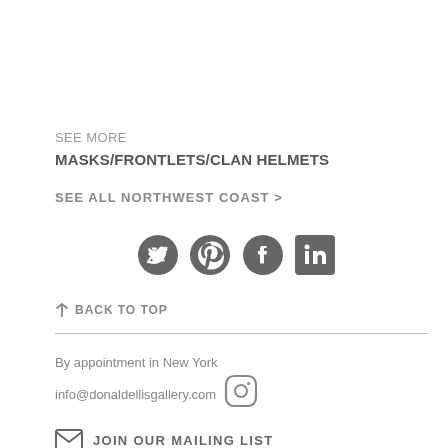SEE MORE
MASKS/FRONTLETS/CLAN HELMETS
SEE ALL NORTHWEST COAST >
[Figure (infographic): Social media icons: Twitter, Pinterest, Facebook, LinkedIn]
↑ BACK TO TOP
By appointment in New York
info@donaldellisgallery.com
[Figure (logo): Instagram icon]
JOIN OUR MAILING LIST